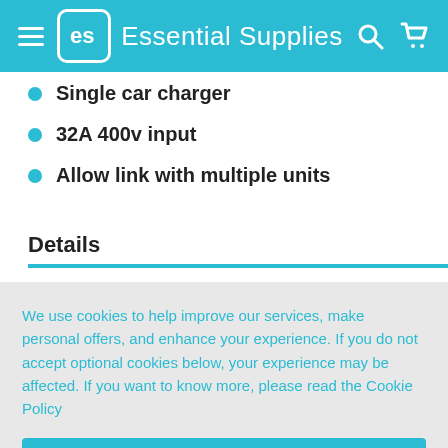Essential Supplies
Single car charger
32A 400v input
Allow link with multiple units
Details
We use cookies to help improve our services, make personal offers, and enhance your experience. If you do not accept optional cookies below, your experience may be affected. If you want to know more, please read the Cookie Policy
ACCEPT
CUSTOMISE